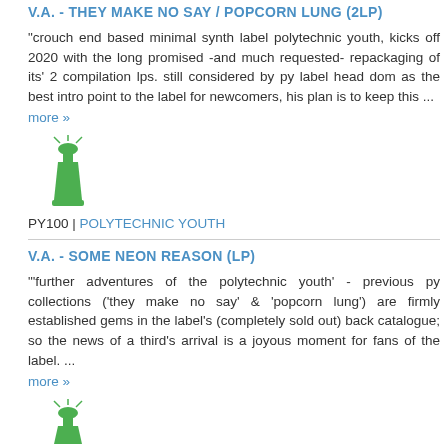V.A. - THEY MAKE NO SAY / POPCORN LUNG (2LP)
"crouch end based minimal synth label polytechnic youth, kicks off 2020 with the long promised -and much requested- repackaging of its' 2 compilation lps. still considered by py label head dom as the best intro point to the label for newcomers, his plan is to keep this ...
more »
[Figure (illustration): Green bottle/speaker icon with rays]
PY100  |  POLYTECHNIC YOUTH
V.A. - SOME NEON REASON (LP)
"'further adventures of the polytechnic youth' - previous py collections ('they make no say' & 'popcorn lung') are firmly established gems in the label's (completely sold out) back catalogue; so the news of a third's arrival is a joyous moment for fans of the label. ...
more »
[Figure (illustration): Green bottle/speaker icon with rays (partial)]